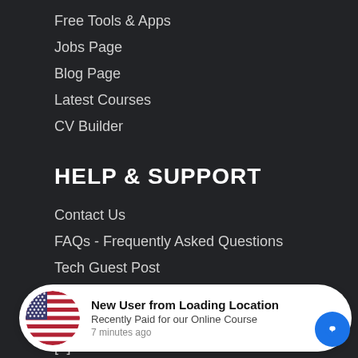Free Tools & Apps
Jobs Page
Blog Page
Latest Courses
CV Builder
HELP & SUPPORT
Contact Us
FAQs - Frequently Asked Questions
Tech Guest Post
Terms of Use
Privacy Policy
[+] Feedback
[Figure (infographic): Notification popup with US flag circle icon on the left and text: New User from Loading Location / Recently Paid for our Online Course / 7 minutes ago. Blue chat button on the bottom right.]